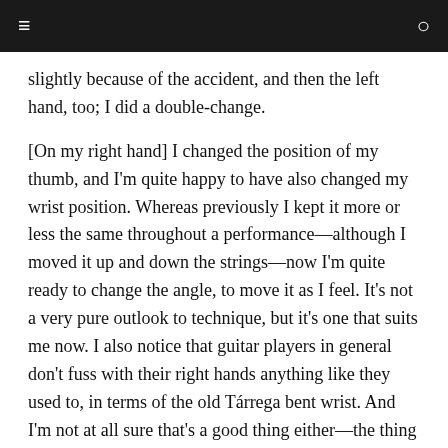≡  Q
slightly because of the accident, and then the left hand, too; I did a double-change.
[On my right hand] I changed the position of my thumb, and I'm quite happy to have also changed my wrist position. Whereas previously I kept it more or less the same throughout a performance—although I moved it up and down the strings—now I'm quite ready to change the angle, to move it as I feel. It's not a very pure outlook to technique, but it's one that suits me now. I also notice that guitar players in general don't fuss with their right hands anything like they used to, in terms of the old Tárrega bent wrist. And I'm not at all sure that's a good thing either—the thing with the Tárrega bend, you didn't